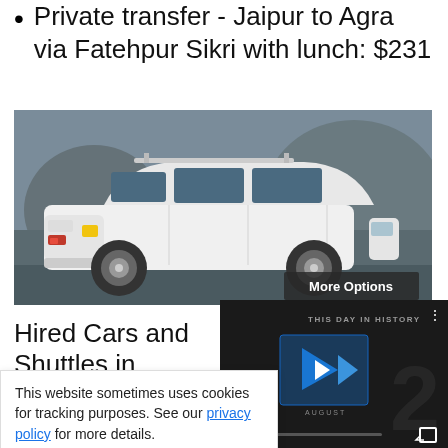Private transfer - Jaipur to Agra via Fatehpur Sikri with lunch: $231
[Figure (photo): White SUV/MPV car parked outdoors, side view, with a 'More Options' button overlay in the bottom right corner]
Hired Cars and Shuttles in Hyderabad
Also for Hyderabad
This website sometimes uses cookies for tracking purposes. See our privacy policy for more details.
[Figure (screenshot): Video player showing 'THIS DAY IN HISTORY' with blue play button icons, mute button, progress bar, and fullscreen button on dark background]
10 Days: $922